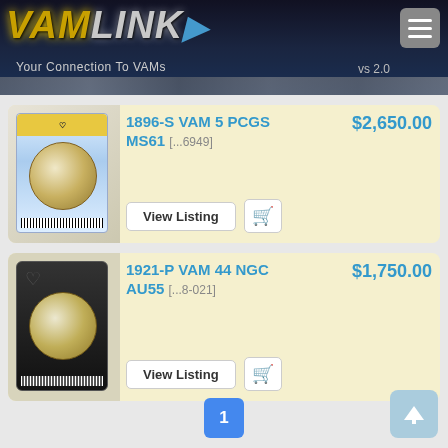[Figure (screenshot): VAMLink app header logo with gold VAM and silver LINK text, tagline 'Your Connection To VAMs', version vs 2.0, hamburger menu icon]
1896-S VAM 5 PCGS MS61 [...6949] $2,650.00
1921-P VAM 44 NGC AU55 [...8-021] $1,750.00
1